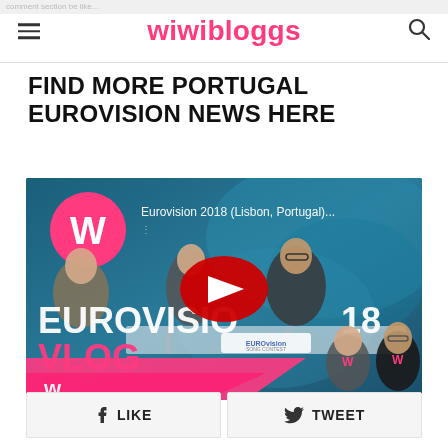wiwibloggs
FIND MORE PORTUGAL EUROVISION NEWS HERE
[Figure (screenshot): YouTube video thumbnail showing Eurovision 2018 (Lisbon, Portugal) VLOG with men signing documents and excited fans, with YouTube play button overlay. Title reads 'Eurovision 2018 (Lisbon, Portugal)...' with EUROVISION 2018 VLOG text and wiwibloggs W logo.]
LIKE
TWEET